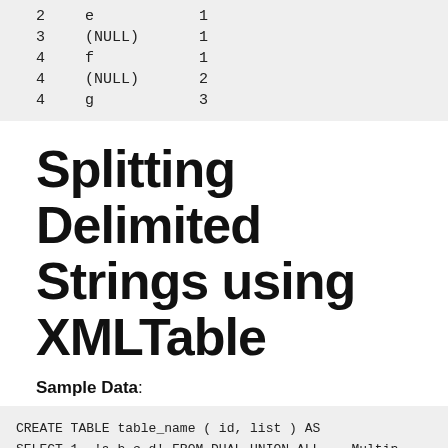| 2 | e | 1 |
| 3 | (NULL) | 1 |
| 4 | f | 1 |
| 4 | (NULL) | 2 |
| 4 | g | 3 |
Splitting Delimited Strings using XMLTable
Sample Data:
CREATE TABLE table_name ( id, list ) AS
SELECT 1, 'a,b,c,d' FROM DUAL UNION ALL -- Multip
SELECT 2, 'e'        FROM DUAL UNION ALL -- Single
SELECT 3, NULL       FROM DUAL UNION ALL -- NULL l